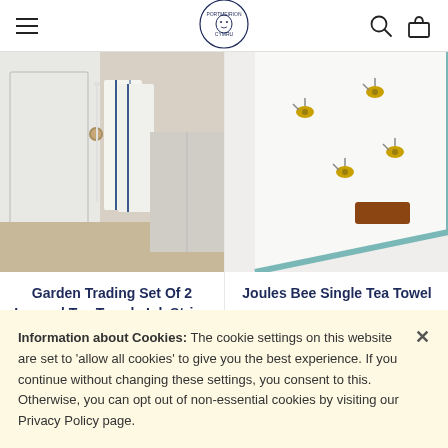Portmeirion Cymru navigation header
[Figure (photo): Tea towels with ink stripe hanging from cabinet door knob in kitchen setting]
[Figure (photo): Joules Bee single tea towel flat lay showing bee pattern and teal border with brown label]
Garden Trading Set Of 2 Looped Tea Towels Ink Stripe
Joules Bee Single Tea Towel
£7.50
Information about Cookies: The cookie settings on this website are set to 'allow all cookies' to give you the best experience. If you continue without changing these settings, you consent to this. Otherwise, you can opt out of non-essential cookies by visiting our Privacy Policy page.